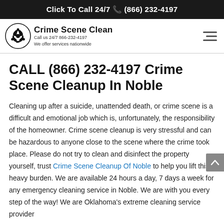Click To Call 24/7 (866) 232-4197
[Figure (logo): Crime Scene Clean biohazard logo with text: Crime Scene Clean, Call us 24/7 866-232-4197, We offer services nationwide]
CALL (866) 232-4197 Crime Scene Cleanup In Noble
Cleaning up after a suicide, unattended death, or crime scene is a difficult and emotional job which is, unfortunately, the responsibility of the homeowner. Crime scene cleanup is very stressful and can be hazardous to anyone close to the scene where the crime took place. Please do not try to clean and disinfect the property yourself, trust Crime Scene Cleanup Of Noble to help you lift this heavy burden. We are available 24 hours a day, 7 days a week for any emergency cleaning service in Noble. We are with you every step of the way! We are Oklahoma's extreme cleaning service provider